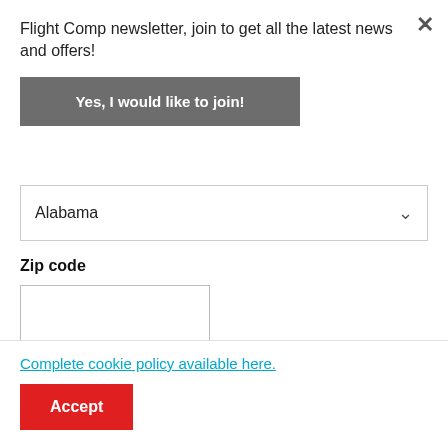Flight Comp newsletter, join to get all the latest news and offers!
Yes, I would like to join!
Alabama
Zip code
Estimate
Complete cookie policy available here.
Accept